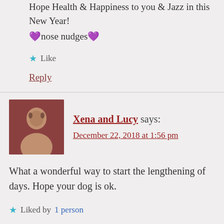Hope Health & Happiness to you & Jazz in this New Year!
💜nose nudges💜
★ Like
Reply
Xena and Lucy says:
December 22, 2018 at 1:56 pm
What a wonderful way to start the lengthening of days. Hope your dog is ok.
★ Liked by 1 person
Reply